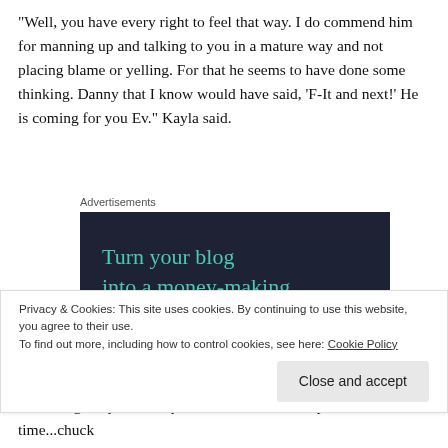“Well, you have every right to feel that way. I do commend him for manning up and talking to you in a mature way and not placing blame or yelling. For that he seems to have done some thinking. Danny that I know would have said, ‘F-It and next!’ He is coming for you Ev.” Kayla said.
[Figure (other): Advertisement banner with dark navy background showing text 'Turn your blog into a money-making online course.' in teal color, with a teal 'Learn More' button]
Privacy & Cookies: This site uses cookies. By continuing to use this website, you agree to their use.
To find out more, including how to control cookies, see here: Cookie Policy
him out, go at your own pace and if he messes up one time...chuck